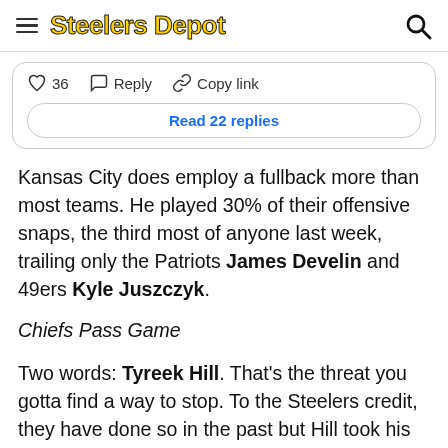Steelers Depot
♡ 36   Reply   Copy link
Read 22 replies
Kansas City does employ a fullback more than most teams. He played 30% of their offensive snaps, the third most of anyone last week, trailing only the Patriots James Develin and 49ers Kyle Juszczyk.
Chiefs Pass Game
Two words: Tyreek Hill. That's the threat you gotta find a way to stop. To the Steelers credit, they have done so in the past but Hill took his game to a different level last Sunday.
Seven receptions, five of them going for 20+ yards, two receiving touchdowns and oh yeah, a 91 yard punt return TD